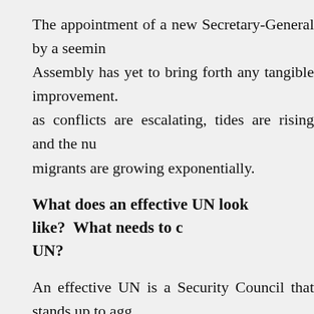The appointment of a new Secretary-General by a seemingly reformed Assembly has yet to bring forth any tangible improvement. as conflicts are escalating, tides are rising and the number of migrants are growing exponentially.
What does an effective UN look like?  What needs to change in the UN?
An effective UN is a Security Council that stands up to aggression and genocide with the same tenacity and persistence as it does to proliferation and piracy.
An effective UN is one that works proactively to prevent and that is not satisfied with passive approvals of cyclical mandates without measuring concrete progress or having tangible consequences.
Tragically, the two superpowers of the end of the last cen